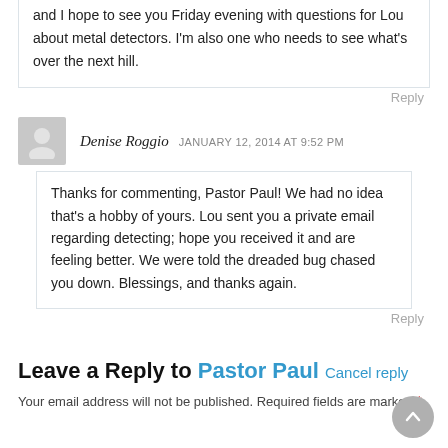and I hope to see you Friday evening with questions for Lou about metal detectors. I'm also one who needs to see what's over the next hill.
Reply
Denise Roggio  JANUARY 12, 2014 AT 9:52 PM
Thanks for commenting, Pastor Paul! We had no idea that's a hobby of yours. Lou sent you a private email regarding detecting; hope you received it and are feeling better. We were told the dreaded bug chased you down. Blessings, and thanks again.
Reply
Leave a Reply to Pastor Paul  Cancel reply
Your email address will not be published. Required fields are marked *